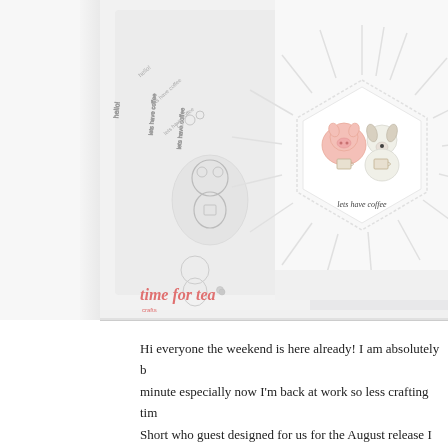[Figure (photo): Crafting/stamping photo showing a stamp sheet with cute animal characters (pig, dog/bear) holding coffee cups, alongside a finished white card that reads 'lets have coffee' with a sun burst die cut background. The 'time for tea' logo/watermark is visible at the bottom of the image.]
Hi everyone the weekend is here already! I am absolutely b... minute especially now I'm back at work so less crafting tim... Short who guest designed for us for the August release I lov... using the sun die but with white on white. It gives added int... main image.